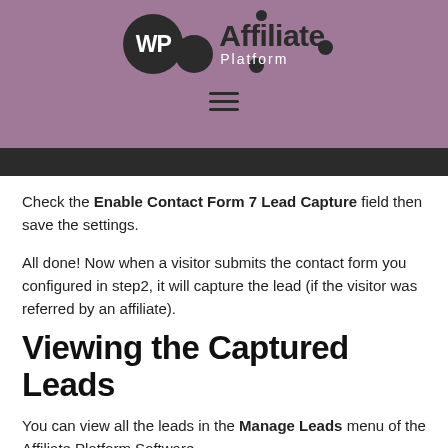WP Affiliate Platform
Check the Enable Contact Form 7 Lead Capture field then save the settings.
All done! Now when a visitor submits the contact form you configured in step2, it will capture the lead (if the visitor was referred by an affiliate).
Viewing the Captured Leads
You can view all the leads in the Manage Leads menu of the Affiliate Platform Software.
The captured lead details will look similar to the following